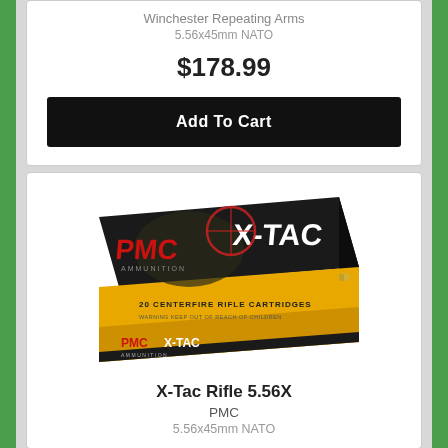Winchester Repeating Arms
5.56x45mm NATO
$178.99
Add To Cart
[Figure (photo): PMC X-TAC ammunition box, 20 centerfire rifle cartridges, 5.56x45mm NATO]
X-Tac Rifle 5.56X
PMC
5.56x45mm NATO